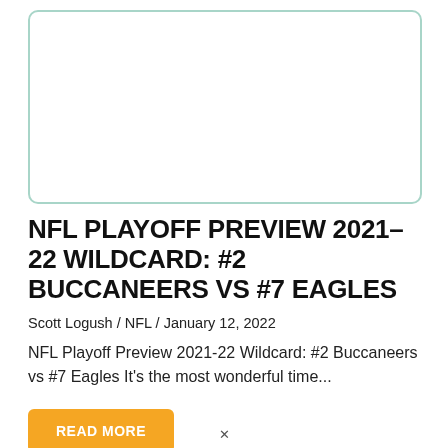[Figure (other): Empty card placeholder with light teal/mint border and rounded corners]
NFL PLAYOFF PREVIEW 2021–22 WILDCARD: #2 BUCCANEERS VS #7 EAGLES
Scott Logush / NFL / January 12, 2022
NFL Playoff Preview 2021-22 Wildcard: #2 Buccaneers vs #7 Eagles It's the most wonderful time...
READ MORE